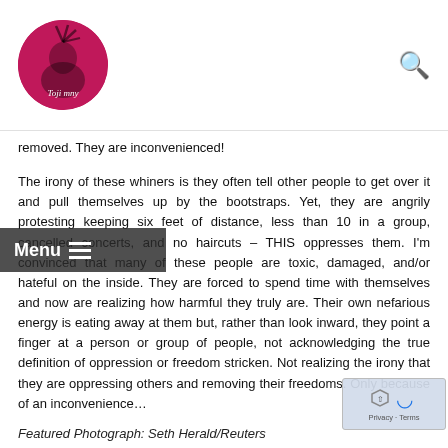Toji mny — blog header with logo and search icon
removed. They are inconvenienced!
The irony of these whiners is they often tell other people to get over it and pull themselves up by the bootstraps. Yet, they are angrily protesting keeping six feet of distance, less than 10 in a group, cancelled concerts, and no haircuts – THIS oppresses them. I'm convinced that many of these people are toxic, damaged, and/or hateful on the inside. They are forced to spend time with themselves and now are realizing how harmful they truly are. Their own nefarious energy is eating away at them but, rather than look inward, they point a finger at a person or group of people, not acknowledging the true definition of oppression or freedom stricken. Not realizing the irony that they are oppressing others and removing their freedoms. Only because of an inconvenience…
Featured Photograph: Seth Herald/Reuters